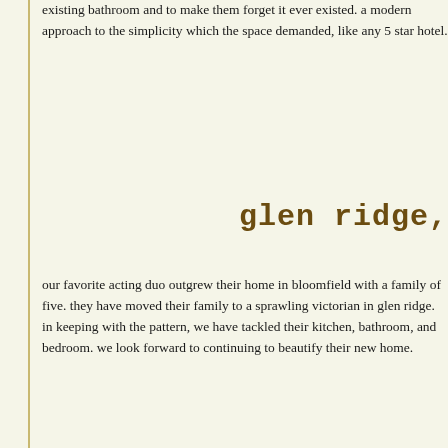existing bathroom and to make them forget it ever existed. a modern approach to the simplicity which the space demanded, like any 5 star hotel.
glen ridge,
our favorite acting duo outgrew their home in bloomfield with a family of five. they have moved their family to a sprawling victorian in glen ridge. in keeping with the pattern, we have tackled their kitchen, bathroom, and bedroom. we look forward to continuing to beautify their new home.